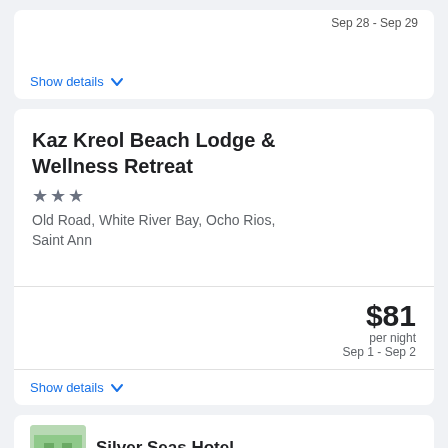Sep 28 - Sep 29
Show details
Kaz Kreol Beach Lodge & Wellness Retreat
★★★
Old Road, White River Bay, Ocho Rios, Saint Ann
$81 per night Sep 1 - Sep 2
Show details
Silver Seas Hotel